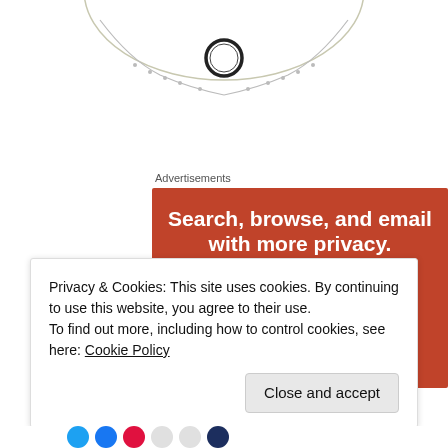[Figure (photo): Partial view of jewelry/necklace against white background, cropped at top of page]
Advertisements
[Figure (infographic): DuckDuckGo advertisement banner on orange/red background. Text: 'Search, browse, and email with more privacy. All in One Free App'. Shows phone mockup with DuckDuckGo duck logo.]
Privacy & Cookies: This site uses cookies. By continuing to use this website, you agree to their use.
To find out more, including how to control cookies, see here: Cookie Policy